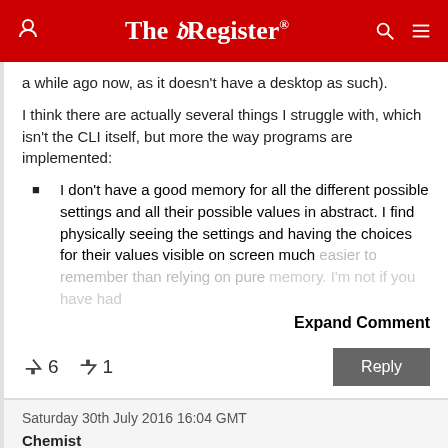The Register
a while ago now, as it doesn't have a desktop as such).
I think there are actually several things I struggle with, which isn't the CLI itself, but more the way programs are implemented:
I don't have a good memory for all the different possible settings and all their possible values in abstract. I find physically seeing the settings and having the choices for their values visible on screen much easier to remember than relying on pure memory. I'm not if you have had…
Expand Comment
↑6  ↓1
Reply
Saturday 30th July 2016 16:04 GMT
Chemist